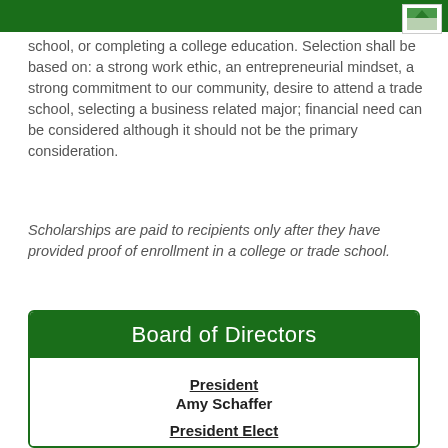school, or completing a college education. Selection shall be based on: a strong work ethic, an entrepreneurial mindset, a strong commitment to our community, desire to attend a trade school, selecting a business related major; financial need can be considered although it should not be the primary consideration.
Scholarships are paid to recipients only after they have provided proof of enrollment in a college or trade school.
Board of Directors
President
Amy Schaffer
President Elect
Secretary
Rachel Porter